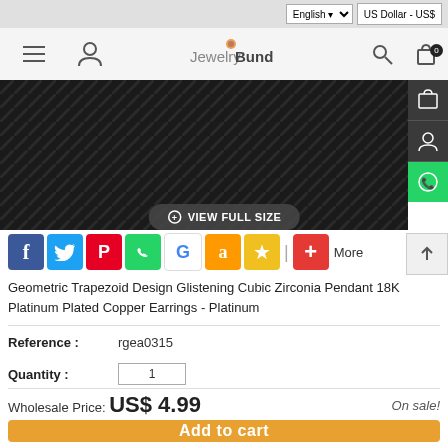[Figure (screenshot): JewelryBund e-commerce website product page showing a product with black textured image, share buttons, product details, and add to cart]
English | US Dollar - US$
JewelryBund
[Figure (photo): Dark black textured product image placeholder with diagonal pattern]
VIEW FULL SIZE
[Figure (infographic): Social share icons: Facebook, Twitter, Pinterest, WhatsApp, Google, Amazon, Star, Plus/More]
Geometric Trapezoid Design Glistening Cubic Zirconia Pendant 18K Platinum Plated Copper Earrings - Platinum
Reference : rgea0315
Quantity : 1
Wholesale Price: US$ 4.99
On sale!
Add to cart